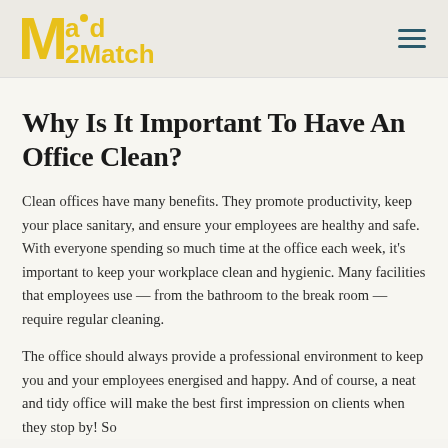Maid2Match
Why Is It Important To Have An Office Clean?
Clean offices have many benefits. They promote productivity, keep your place sanitary, and ensure your employees are healthy and safe. With everyone spending so much time at the office each week, it's important to keep your workplace clean and hygienic. Many facilities that employees use — from the bathroom to the break room — require regular cleaning.
The office should always provide a professional environment to keep you and your employees energised and happy. And of course, a neat and tidy office will make the best first impression on clients when they stop by! So